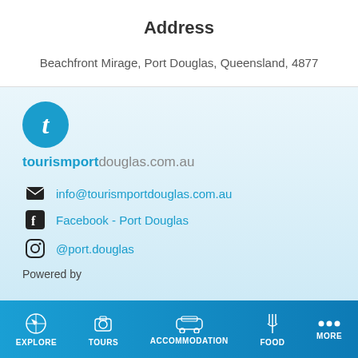Address
Beachfront Mirage, Port Douglas, Queensland, 4877
[Figure (logo): Tourism Port Douglas logo: blue circle with white italic 't', with text 'tourismportdouglas.com.au' below]
info@tourismportdouglas.com.au
Facebook - Port Douglas
@port.douglas
Powered by
EXPLORE  TOURS  ACCOMMODATION  FOOD  MORE